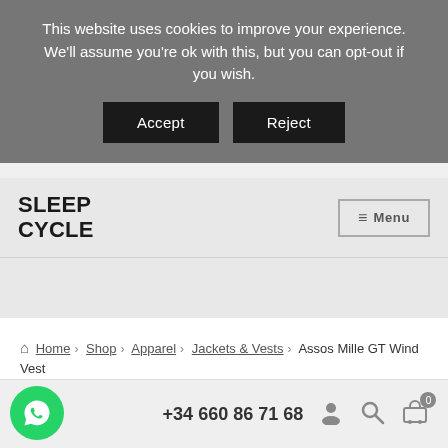This website uses cookies to improve your experience. We'll assume you're ok with this, but you can opt-out if you wish.
Accept | Reject
[Figure (logo): Sleep Cycle logo in bold uppercase black text]
≡ Menu
Home › Shop › Apparel › Jackets & Vests › Assos Mille GT Wind Vest
SALE!
+34 660 86 71 68